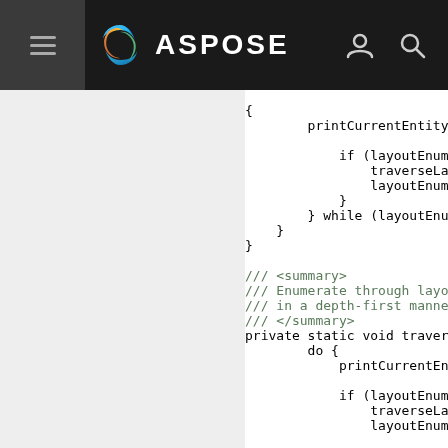ASPOSE
[Figure (screenshot): Code snippet showing Java/C# code with traverseLayoutBackward and traverseLayoutForward methods, including do-while loops, printCurrentEntity calls, if statements with moveLastChild, moveParent, movePrev, moveFirstChild conditions, and XML doc comments summarizing the method.]